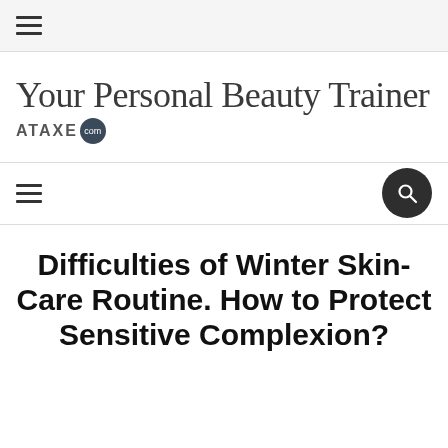☰ (hamburger menu icon)
Your Personal Beauty Trainer ATAXE.com
☰ (hamburger menu) 🔍 (search button)
Difficulties of Winter Skin-Care Routine. How to Protect Sensitive Complexion?